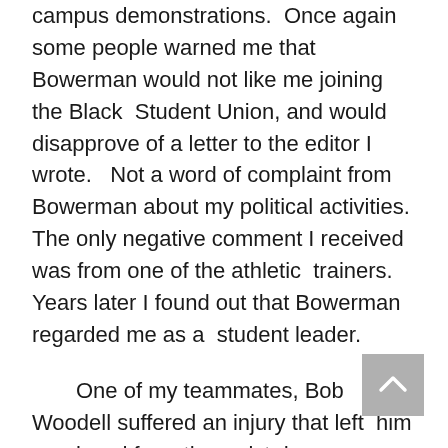campus demonstrations.  Once again some people warned me that Bowerman would not like me joining the Black  Student Union, and would disapprove of a letter to the editor I wrote.   Not a word of complaint from Bowerman about my political activities.  The only negative comment I received was from one of the athletic  trainers.  Years later I found out that Bowerman regarded me as a  student leader.
One of my teammates, Bob Woodell suffered an injury that left  him paralyzed from the waist down as a result of a campus accident.   This tragic event left many of us wondering what we could do to help  Bob.  Bowerman knew what to do and organized an